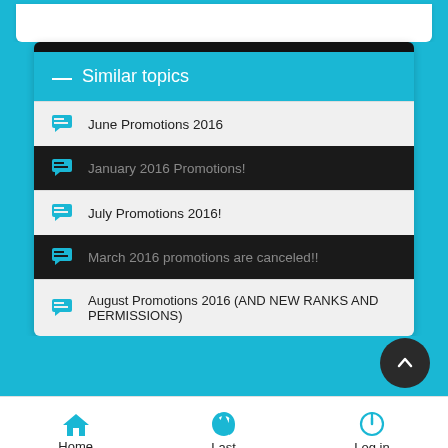Similar topics
June Promotions 2016
January 2016 Promotions!
July Promotions 2016!
March 2016 promotions are canceled!!
August Promotions 2016 (AND NEW RANKS AND PERMISSIONS)
Home  Last  Log in